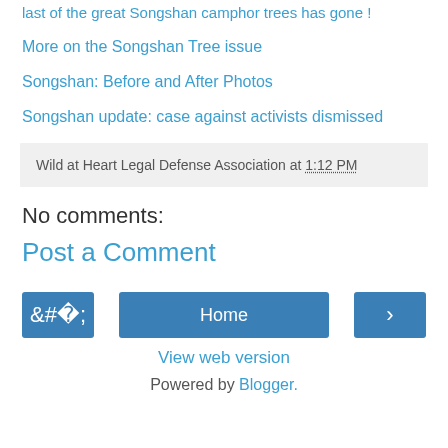last of the great Songshan camphor trees has gone !
More on the Songshan Tree issue
Songshan: Before and After Photos
Songshan update: case against activists dismissed
Wild at Heart Legal Defense Association at 1:12 PM
No comments:
Post a Comment
Home
View web version
Powered by Blogger.